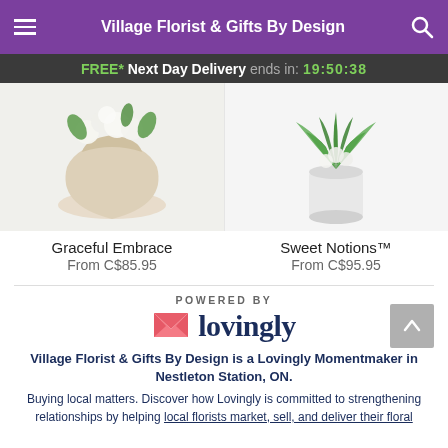Village Florist & Gifts By Design
FREE* Next Day Delivery ends in: 19:50:38
[Figure (photo): Two product images side by side: left is 'Graceful Embrace' in a beige ceramic pot, right is 'Sweet Notions' in a white cylindrical vase with green foliage]
Graceful Embrace
From C$85.95
Sweet Notions™
From C$95.95
[Figure (logo): Lovingly logo with pink heart/envelope icon and dark navy 'lovingly' text, with 'POWERED BY' label above]
Village Florist & Gifts By Design is a Lovingly Momentmaker in Nestleton Station, ON.
Buying local matters. Discover how Lovingly is committed to strengthening relationships by helping local florists market, sell, and deliver their floral